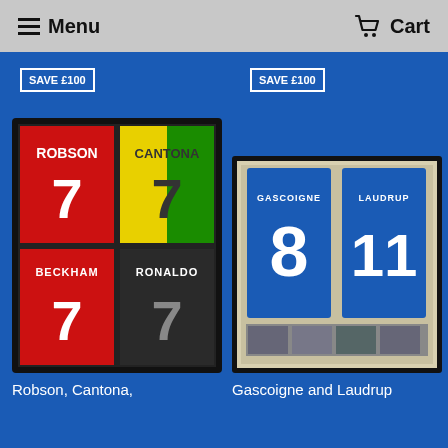Menu  Cart
SAVE £100
SAVE £100
[Figure (photo): Framed display of four signed football shirts: Robson 7 (red, Man Utd), Cantona 7 (yellow/green, black number), Beckham 7 (red), Ronaldo 7 (black)]
[Figure (photo): Framed display of two signed Rangers football shirts: Gascoigne 8 and Laudrup 11 (both blue), with photos at bottom]
Robson, Cantona,
Gascoigne and Laudrup